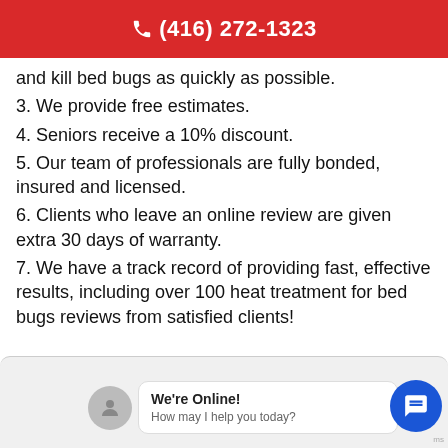(416) 272-1323
and kill bed bugs as quickly as possible.
3. We provide free estimates.
4. Seniors receive a 10% discount.
5. Our team of professionals are fully bonded, insured and licensed.
6. Clients who leave an online review are given extra 30 days of warranty.
7. We have a track record of providing fast, effective results, including over 100 heat treatment for bed bugs reviews from satisfied clients!
[Figure (screenshot): Chat widget overlay at bottom of page showing 'We're Online! How may I help you today?' with a blue chat circle button on the right.]